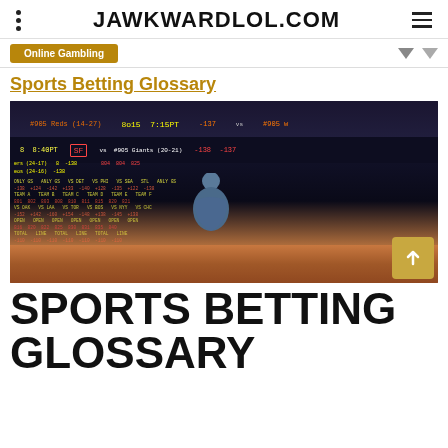JAWKWARDLOL.COM
Sports Betting Glossary
[Figure (photo): A person standing with back to camera facing a large sportsbook odds board with scores and betting lines displayed]
SPORTS BETTING GLOSSARY